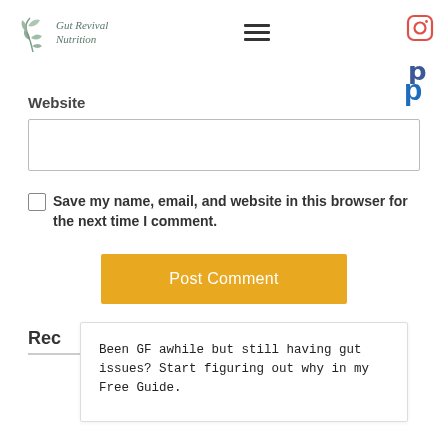Gut Revival Nutrition
Website
Save my name, email, and website in this browser for the next time I comment.
Post Comment
Rec
Been GF awhile but still having gut issues? Start figuring out why in my Free Guide.